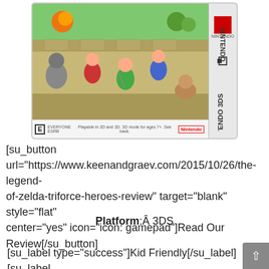[Figure (photo): Nintendo 3DS game box for The Legend of Zelda: Triforce Heroes, showing characters Link and two others fighting, ESRB E rating, Nintendo logo on side spine]
[su_button url="https://www.keenandgraev.com/2015/10/26/the-legend-of-zelda-triforce-heroes-review" target="blank" style="flat" center="yes" icon="icon: gamepad"]Read Our Review[/su_button]
Platform:Â 3DS
[su_label type="success"]Kid Friendly[/su_label][su_label